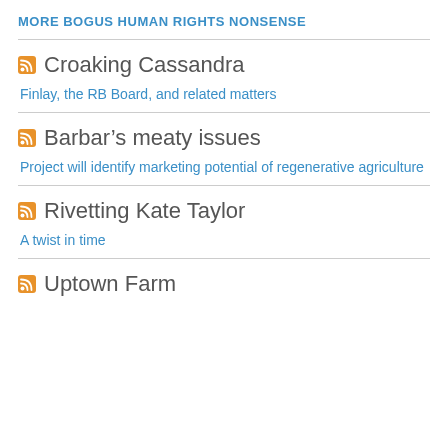MORE BOGUS HUMAN RIGHTS NONSENSE
Croaking Cassandra
Finlay, the RB Board, and related matters
Barbar's meaty issues
Project will identify marketing potential of regenerative agriculture
Rivetting Kate Taylor
A twist in time
Uptown Farm